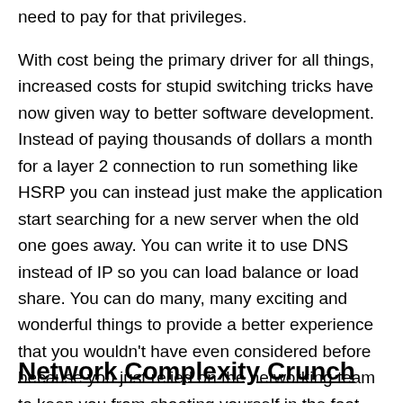need to pay for that privileges.
With cost being the primary driver for all things, increased costs for stupid switching tricks have now given way to better software development. Instead of paying thousands of dollars a month for a layer 2 connection to run something like HSRP you can instead just make the application start searching for a new server when the old one goes away. You can write it to use DNS instead of IP so you can load balance or load share. You can do many, many exciting and wonderful things to provide a better experience that you wouldn't have even considered before because you just relied on the networking team to keep you from shooting yourself in the foot.
Network Complexity Crunch